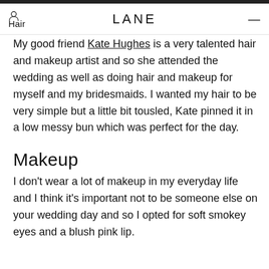Hair | LANE | ≡
Hair
My good friend Kate Hughes is a very talented hair and makeup artist and so she attended the wedding as well as doing hair and makeup for myself and my bridesmaids. I wanted my hair to be very simple but a little bit tousled, Kate pinned it in a low messy bun which was perfect for the day.
Makeup
I don't wear a lot of makeup in my everyday life and I think it's important not to be someone else on your wedding day and so I opted for soft smokey eyes and a blush pink lip.